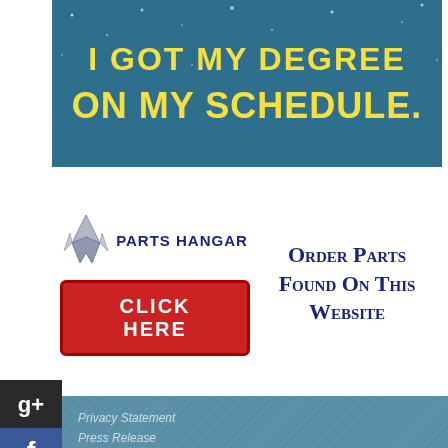[Figure (illustration): Advertisement banner with teal/blue starry background. Text reads 'I GOT MY DEGREE' in large yellow bold text, and 'ON MY SCHEDULE.' in large yellow bold text below.]
[Figure (logo): Parts Hangar advertisement: logo with stylized aircraft/arrow icon, 'PARTS HANGAR' text in navy blue, a red 'CLICK HERE' button, and text 'Order Parts Found On This Website' in navy small-caps serif font.]
Privacy Statement
Press Release
Contact
Copyright Integrated Publishing, Inc.. All Rights Reserved.
Integrated Publishing, Inc. - A (SDVOSB) Service Disabled Veteran Owned Small Business